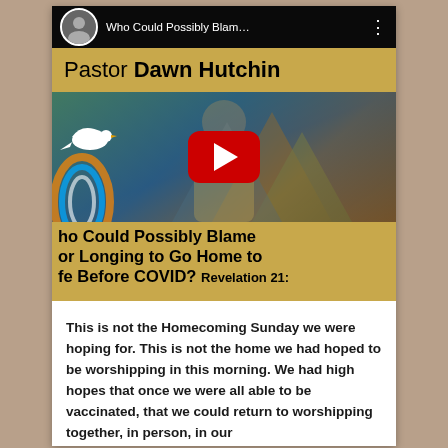[Figure (screenshot): YouTube video thumbnail showing Pastor Dawn Hutchins with title 'Who Could Possibly Blame... for Longing to Go Home to Life Before COVID? Revelation 21:' overlaid on a tan/gold background. A red YouTube play button is visible in the center. The top bar shows the video title and a circular avatar.]
This is not the Homecoming Sunday we were hoping for. This is not the home we had hoped to be worshipping in this morning. We had high hopes that once we were all able to be vaccinated, that we could return to worshipping together, in person, in our